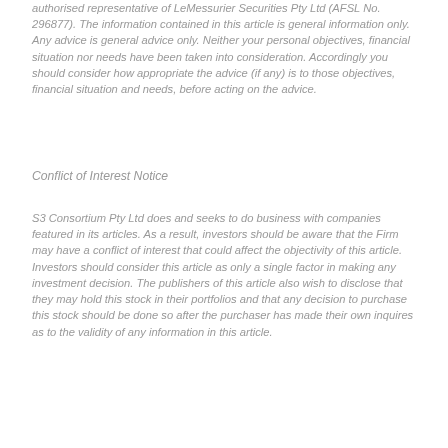authorised representative of LeMessurier Securities Pty Ltd (AFSL No. 296877). The information contained in this article is general information only. Any advice is general advice only. Neither your personal objectives, financial situation nor needs have been taken into consideration. Accordingly you should consider how appropriate the advice (if any) is to those objectives, financial situation and needs, before acting on the advice.
Conflict of Interest Notice
S3 Consortium Pty Ltd does and seeks to do business with companies featured in its articles. As a result, investors should be aware that the Firm may have a conflict of interest that could affect the objectivity of this article. Investors should consider this article as only a single factor in making any investment decision. The publishers of this article also wish to disclose that they may hold this stock in their portfolios and that any decision to purchase this stock should be done so after the purchaser has made their own inquires as to the validity of any information in this article.